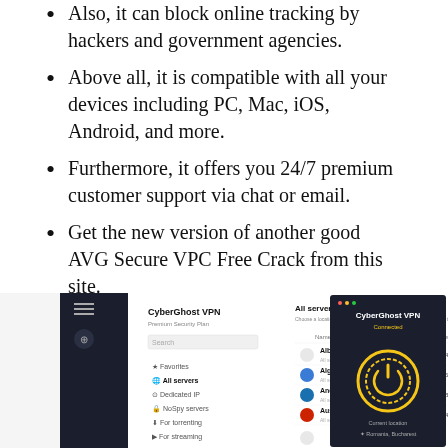Also, it can block online tracking by hackers and government agencies.
Above all, it is compatible with all your devices including PC, Mac, iOS, Android, and more.
Furthermore, it offers you 24/7 premium customer support via chat or email.
Get the new version of another good AVG Secure VPC Free Crack from this site.
Also, may you like: NetBalancer Crack
[Figure (screenshot): Screenshot of CyberGhost VPN application showing server list on left panel and a connected status window on the right with a yellow power button circle.]